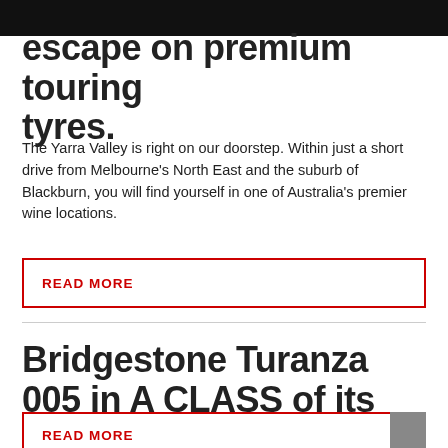escape on premium touring tyres.
The Yarra Valley is right on our doorstep. Within just a short drive from Melbourne's North East and the suburb of Blackburn, you will find yourself in one of Australia's premier wine locations.
READ MORE
Bridgestone Turanza 005 in A CLASS of its own!
The all new Bridgestone Turanza T005 is the latest tyre to be developed and produced in Europe.
READ MORE